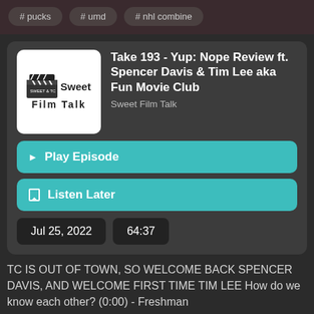# pucks
# umd
# nhl combine
Take 193 - Yup: Nope Review ft. Spencer Davis & Tim Lee aka Fun Movie Club
Sweet Film Talk
▶ Play Episode
☐ Listen Later
Jul 25, 2022
64:37
TC IS OUT OF TOWN, SO WELCOME BACK SPENCER DAVIS, AND WELCOME FIRST TIME TIM LEE How do we know each other? (0:00) - Freshman